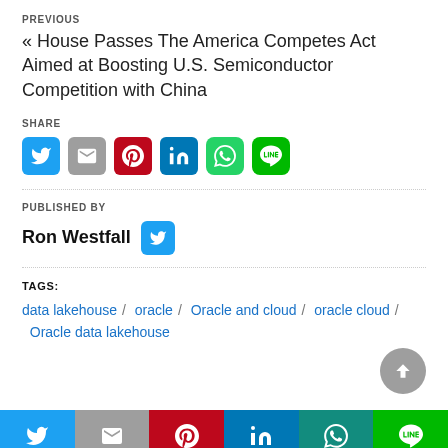PREVIOUS
« House Passes The America Competes Act Aimed at Boosting U.S. Semiconductor Competition with China
SHARE
[Figure (infographic): Row of 6 social share icon buttons: Twitter (blue), Gmail (grey), Pinterest (red), LinkedIn (blue), WhatsApp (green), Line (green)]
PUBLISHED BY
Ron Westfall
TAGS:
data lakehouse / oracle / Oracle and cloud / oracle cloud / Oracle data lakehouse
[Figure (infographic): Bottom navigation bar with 6 colored segments: Twitter (blue), Gmail (grey), Pinterest (red), LinkedIn (blue), WhatsApp (teal), Line (green), each with respective icon]